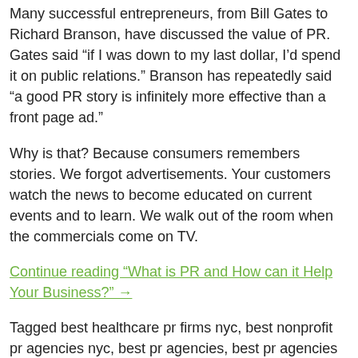Many successful entrepreneurs, from Bill Gates to Richard Branson, have discussed the value of PR. Gates said “if I was down to my last dollar, I’d spend it on public relations.” Branson has repeatedly said “a good PR story is infinitely more effective than a front page ad.”
Why is that? Because consumers remembers stories. We forgot advertisements. Your customers watch the news to become educated on current events and to learn. We walk out of the room when the commercials come on TV.
Continue reading “What is PR and How can it Help Your Business?” →
Tagged best healthcare pr firms nyc, best nonprofit pr agencies nyc, best pr agencies, best pr agencies nyc, macias pr, pr agency, top tech pr agencies nyc, top tech pr firms